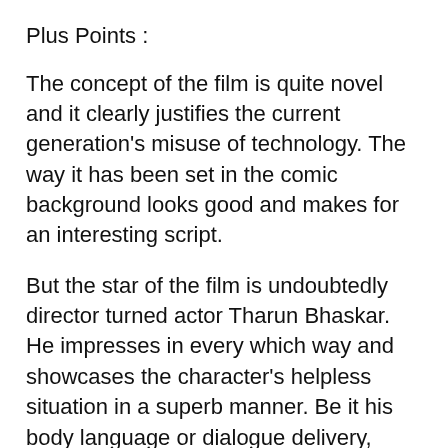Plus Points :
The concept of the film is quite novel and it clearly justifies the current generation's misuse of technology. The way it has been set in the comic background looks good and makes for an interesting script.
But the star of the film is undoubtedly director turned actor Tharun Bhaskar. He impresses in every which way and showcases the character's helpless situation in a superb manner. Be it his body language or dialogue delivery, everything is perfect and he makes for a good actor.
Abhinav Gomatam gets a meaty role and he evokes decent laughs throughout the film.